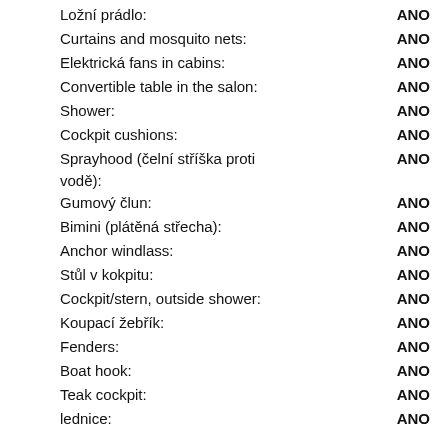Ložní prádlo: ANO
Curtains and mosquito nets: ANO
Elektrická fans in cabins: ANO
Convertible table in the salon: ANO
Shower: ANO
Cockpit cushions: ANO
Sprayhood (čelní stříška proti vodě): ANO
Gumový člun: ANO
Bimini (plátěná střecha): ANO
Anchor windlass: ANO
Stůl v kokpitu: ANO
Cockpit/stern, outside shower: ANO
Koupací žebřík: ANO
Fenders: ANO
Boat hook: ANO
Teak cockpit: ANO
lednice: ANO